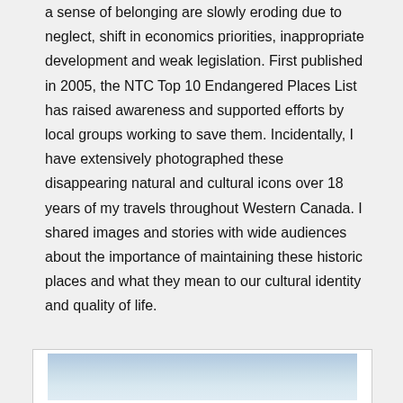a sense of belonging are slowly eroding due to neglect, shift in economics priorities, inappropriate development and weak legislation. First published in 2005, the NTC Top 10 Endangered Places List has raised awareness and supported efforts by local groups working to save them. Incidentally, I have extensively photographed these disappearing natural and cultural icons over 18 years of my travels throughout Western Canada. I shared images and stories with wide audiences about the importance of maintaining these historic places and what they mean to our cultural identity and quality of life.
[Figure (photo): A landscape photograph showing a blue sky with light clouds, appearing to be an outdoor scenic shot.]